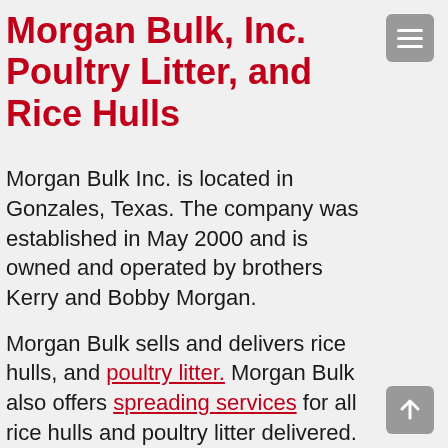Morgan Bulk, Inc. Poultry Litter, and Rice Hulls
Morgan Bulk Inc. is located in Gonzales, Texas. The company was established in May 2000 and is owned and operated by brothers Kerry and Bobby Morgan.
Morgan Bulk sells and delivers rice hulls, and poultry litter. Morgan Bulk also offers spreading services for all rice hulls and poultry litter delivered.
In agriculture, poultry litter or broiler litter is a